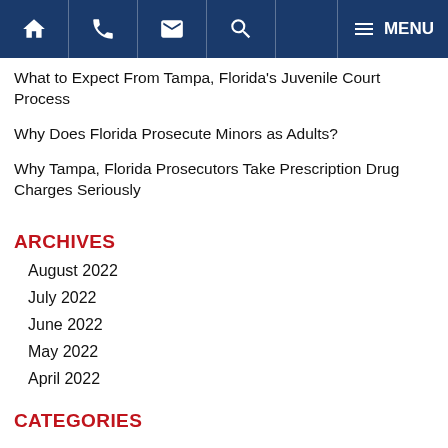Navigation bar with home, phone, email, search, and menu icons
What to Expect From Tampa, Florida's Juvenile Court Process
Why Does Florida Prosecute Minors as Adults?
Why Tampa, Florida Prosecutors Take Prescription Drug Charges Seriously
ARCHIVES
August 2022
July 2022
June 2022
May 2022
April 2022
CATEGORIES